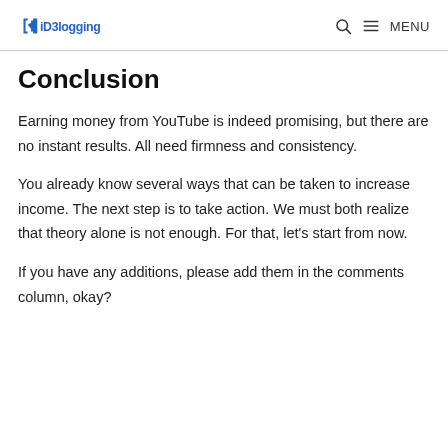iD3logging | MENU
Conclusion
Earning money from YouTube is indeed promising, but there are no instant results. All need firmness and consistency.
You already know several ways that can be taken to increase income. The next step is to take action. We must both realize that theory alone is not enough. For that, let's start from now.
If you have any additions, please add them in the comments column, okay?